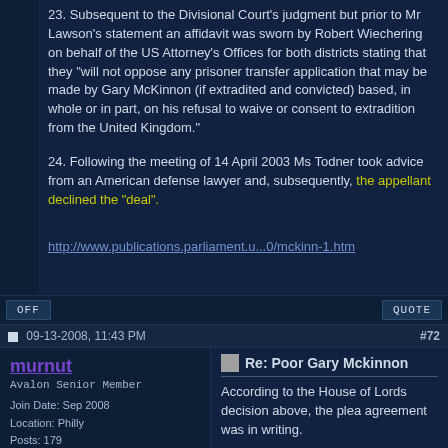23. Subsequent to the Divisional Court's judgment but prior to Mr Lawson's statement an affidavit was sworn by Robert Wiechering on behalf of the US Attorney's Offices for both districts stating that they "will not oppose any prisoner transfer application that may be made by Gary McKinnon (if extradited and convicted) based, in whole or in part, on his refusal to waive or consent to extradition from the United Kingdom."
24. Following the meeting of 14 April 2003 Ms Todner took advice from an American defense lawyer and, subsequently, the appellant declined the "deal".
http://www.publications.parliament.u...0/mckinn-1.htm
OFF
QUOTE
09-13-2008, 11:43 PM
#72
murnut
Avalon Senior Member
Join Date: Sep 2008
Location: Philly
Posts: 179
Re: Poor Gary Mckinnon
According to the House of Lords decision above, the plea agreement was in writing.
Disinfo from Gary?